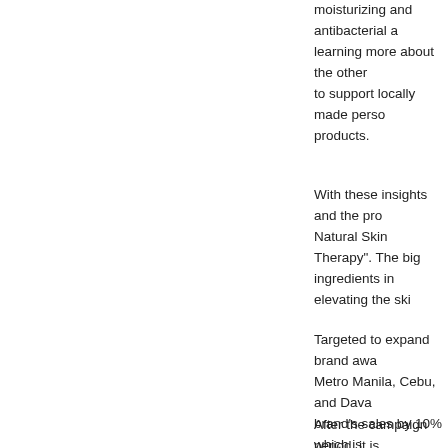moisturizing and antibacterial and learning more about the other to support locally made personal products.
With these insights and the pro Natural Skin Therapy". The big ingredients in elevating the ski
Targeted to expand brand awa Metro Manila, Cebu, and Dava brand's sales by 10% which is performance. Furthermore, the 100%, specifically for Dad's Or followers to double and have 1 period. To achieve this, an IMC Php 50,000, as provided by the campaign. The media strategie Instagram Ads, and YouTube A stores. Nice-to-have strategies the effectiveness of the campa
After the campaign period, it is suggested to inspire the brand t